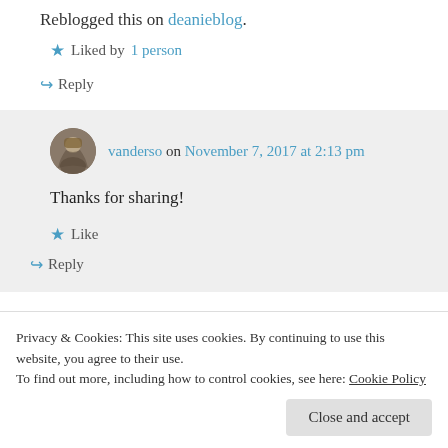Reblogged this on deanieblog.
Liked by 1 person
↪ Reply
vanderso on November 7, 2017 at 2:13 pm
Thanks for sharing!
Like
↪ Reply
Privacy & Cookies: This site uses cookies. By continuing to use this website, you agree to their use.
To find out more, including how to control cookies, see here: Cookie Policy
Close and accept
Ana's Blog and commented: